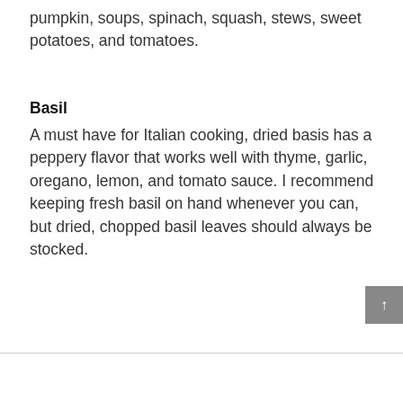pumpkin, soups, spinach, squash, stews, sweet potatoes, and tomatoes.
Basil
A must have for Italian cooking, dried basis has a peppery flavor that works well with thyme, garlic, oregano, lemon, and tomato sauce. I recommend keeping fresh basil on hand whenever you can, but dried, chopped basil leaves should always be stocked.